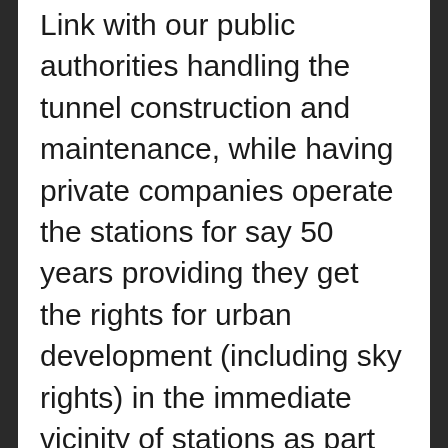Link with our public authorities handling the tunnel construction and maintenance, while having private companies operate the stations for say 50 years providing they get the rights for urban development (including sky rights) in the immediate vicinity of stations as part of a wider investment program. Now I know in Tokyo's railway has stations that are built and run by companies basically on behalf of the rail metro line and in the same token have developed often impressive complexes of residential, commercial office and commercial services (retail, malls, hotels) above and around the said station.